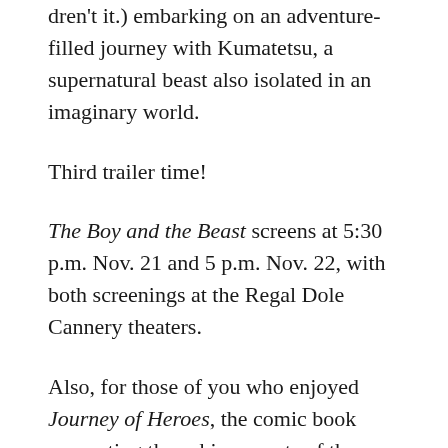dren't it.) embarking on an adventure-filled journey with Kumatetsu, a supernatural beast also isolated in an imaginary world.
Third trailer time!
The Boy and the Beast screens at 5:30 p.m. Nov. 21 and 5 p.m. Nov. 22, with both screenings at the Regal Dole Cannery theaters.
Also, for those of you who enjoyed Journey of Heroes, the comic book recounting the achievements of the 442nd Regimental Combat Team and 100th Infantry Battalion with chibi characters, author Stacey Hayashi has a pair of projects screening as part of this year's “Made in Hawaii Shorts” roundup; “The Surrender